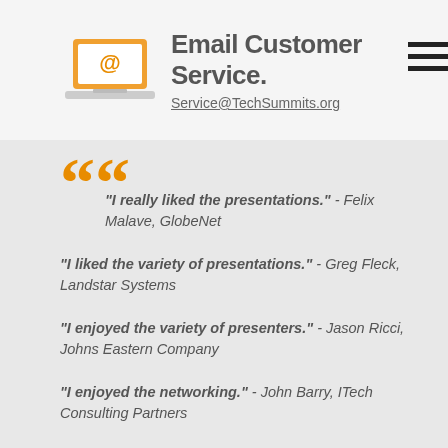[Figure (illustration): Orange laptop icon with @ symbol on screen]
Email Customer Service.
Service@TechSummits.org
“
"I really liked the presentations." - Felix Malave, GlobeNet
"I liked the variety of presentations." - Greg Fleck, Landstar Systems
"I enjoyed the variety of presenters." - Jason Ricci, Johns Eastern Company
"I enjoyed the networking." - John Barry, ITech Consulting Partners
"I attended and enjoyed the vendor presentations the best." - John Ball, Director, United Way
"The presenters and presentations were all excellent – I appreciated the breaks that allowed us to talk with the vendors at the tables that presented and to speak with the vendors that were only tabling."